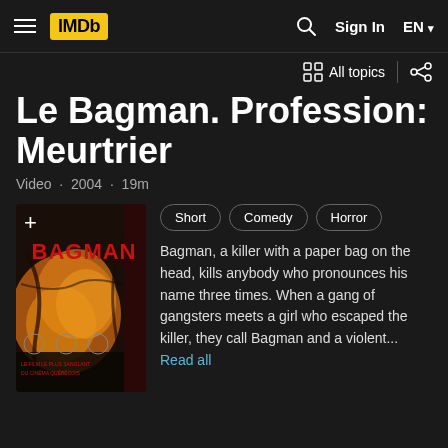IMDb navigation bar with hamburger menu, IMDb logo, search icon, Sign In, EN language selector
All topics
Le Bagman. Profession: Meurtrier
Video · 2004 · 19m
[Figure (photo): Movie poster for Le Bagman / Profession: Meurtrier (2004) showing the Bagman character with text 'PROFESSION: MEURTRIER' and 'BAGMAN' in red letters on dark background with orange/yellow imagery]
Short
Comedy
Horror
Bagman, a killer with a paper bag on the head, kills anybody who pronounces his name three times. When a gang of gangsters meets a girl who escaped the killer, they call Bagman and a violent... Read all